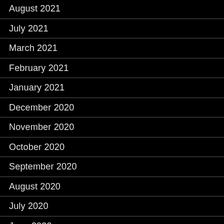August 2021
July 2021
March 2021
February 2021
January 2021
December 2020
November 2020
October 2020
September 2020
August 2020
July 2020
June 2020
May 2020